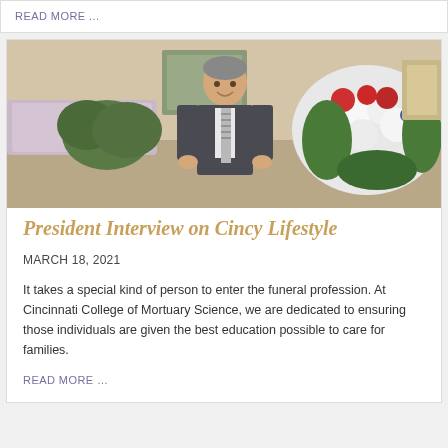READ MORE ...
[Figure (photo): A man in a dark suit and striped tie standing in front of a casket and floral arrangement in a funeral home setting.]
President Interview on Cincy Lifestyle
MARCH 18, 2021
It takes a special kind of person to enter the funeral profession. At Cincinnati College of Mortuary Science, we are dedicated to ensuring those individuals are given the best education possible to care for families.
READ MORE …